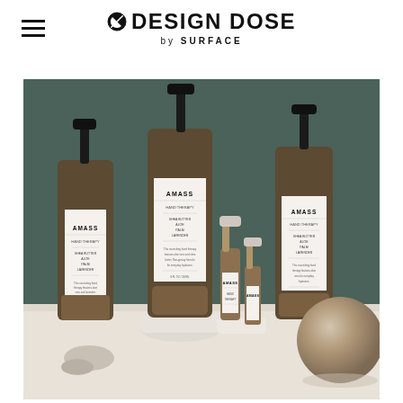DESIGN DOSE by SURFACE
[Figure (photo): Product photo of four AMASS branded amber glass pump bottles and two small spray bottles arranged on a white shelf surface with stone sphere prop, against a dark forest green background. Labels read AMASS with product details.]